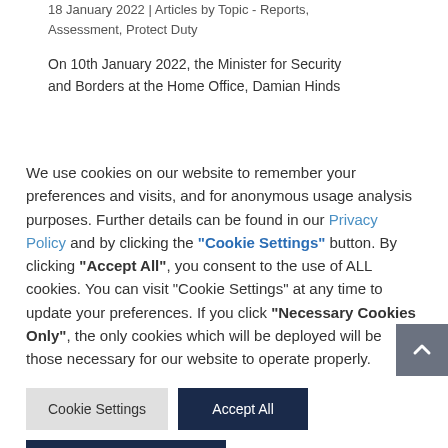18 January 2022 | Articles by Topic - Reports, Assessment, Protect Duty
On 10th January 2022, the Minister for Security and Borders at the Home Office, Damian Hinds
We use cookies on our website to remember your preferences and visits, and for anonymous usage analysis purposes. Further details can be found in our Privacy Policy and by clicking the "Cookie Settings" button. By clicking "Accept All", you consent to the use of ALL cookies. You can visit "Cookie Settings" at any time to update your preferences. If you click "Necessary Cookies Only", the only cookies which will be deployed will be those necessary for our website to operate properly.